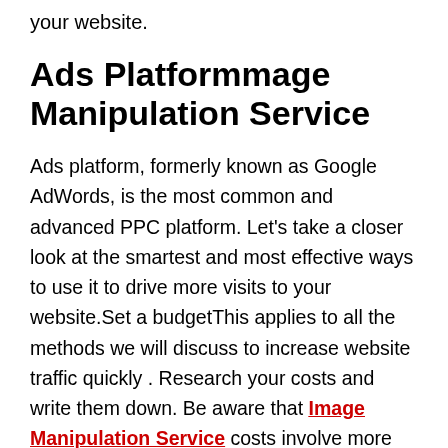your website.
Ads Platformmage Manipulation Service
Ads platform, formerly known as Google AdWords, is the most common and advanced PPC platform. Let's take a closer look at the smartest and most effective ways to use it to drive more visits to your website.Set a budgetThis applies to all the methods we will discuss to increase website traffic quickly . Research your costs and write them down. Be aware that Image Manipulation Service costs involve more than ads.You will also pay cash or time for the following:Ad writer and/or designer